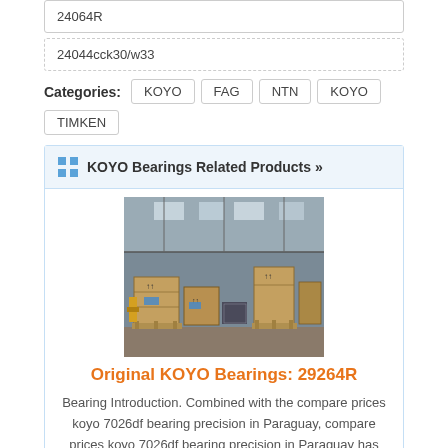24064R
24044cck30/w33
Categories: KOYO FAG NTN KOYO TIMKEN
KOYO Bearings Related Products »
[Figure (photo): Warehouse photo showing wooden crates and boxes on pallets inside a large industrial storage facility]
Original KOYO Bearings: 29264R
Bearing Introduction. Combined with the compare prices koyo 7026df bearing precision in Paraguay, compare prices koyo 7026df bearing precision in Paraguay has the